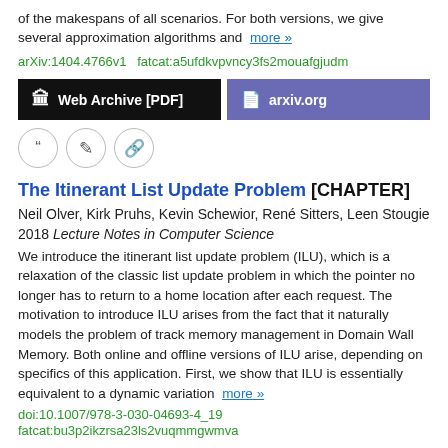of the makespans of all scenarios. For both versions, we give several approximation algorithms and more »
arXiv:1404.4766v1  fatcat:a5ufdkvpvncy3fs2mouafgjudm
[Figure (other): Two buttons: 'Web Archive [PDF]' (black) and 'arxiv.org' (purple/blue)]
[Figure (other): Three icon buttons: quote, edit, link]
The Itinerant List Update Problem [CHAPTER]
Neil Olver, Kirk Pruhs, Kevin Schewior, René Sitters, Leen Stougie
2018 Lecture Notes in Computer Science
We introduce the itinerant list update problem (ILU), which is a relaxation of the classic list update problem in which the pointer no longer has to return to a home location after each request. The motivation to introduce ILU arises from the fact that it naturally models the problem of track memory management in Domain Wall Memory. Both online and offline versions of ILU arise, depending on specifics of this application. First, we show that ILU is essentially equivalent to a dynamic variation more »
doi:10.1007/978-3-030-04693-4_19
fatcat:bu3p2ikzrsa23ls2vuqmmgwmva